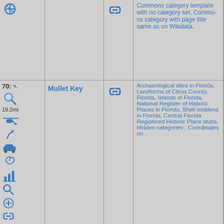Commons category template with no category set, Commons category with page title same as on Wikidata,
[Figure (photo): Green grassy field or meadow, aerial or close view]
70: 19.2mi
Mullet Key
Archaeological sites in Florida, Landforms of Citrus County, Florida, Islands of Florida, National Register of Historic Places in Florida, Shell middens in Florida, Central Florida Registered Historic Place stubs, Hidden categories:, Coordinates on
[Figure (photo): Coastal wetland or island with water, vegetation, and shell/gravel beach, Mullet Key area Florida]